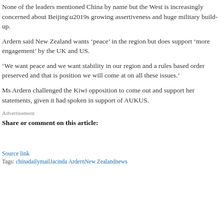None of the leaders mentioned China by name but the West is increasingly concerned about Beijing’s growing assertiveness and huge military build-up.
Ardern said New Zealand wants ‘peace’ in the region but does support ‘more engagement’ by the UK and US.
‘We want peace and we want stability in our region and a rules based order preserved and that is position we will come at on all these issues.’
Ms Ardern challenged the Kiwi opposition to come out and support her statements, given it had spoken in support of AUKUS.
Advertisement
Share or comment on this article:
Source link
Tags: chinadailymailJacinda ArdernNew Zealandnews